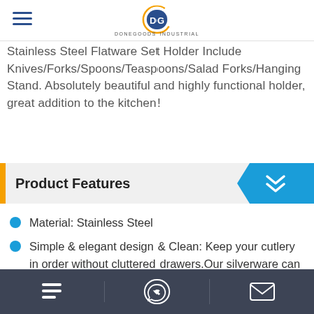DONEGOODS INDUSTRIAL logo and hamburger menu
Stainless Steel Flatware Set Holder Include Knives/Forks/Spoons/Teaspoons/Salad Forks/Hanging Stand. Absolutely beautiful and highly functional holder, great addition to the kitchen!
Product Features
Material: Stainless Steel
Simple & elegant design & Clean: Keep your cutlery in order without cluttered drawers.Our silverware can fit neatly on a stand/portable.
Bottom navigation bar with menu, phone, and email icons